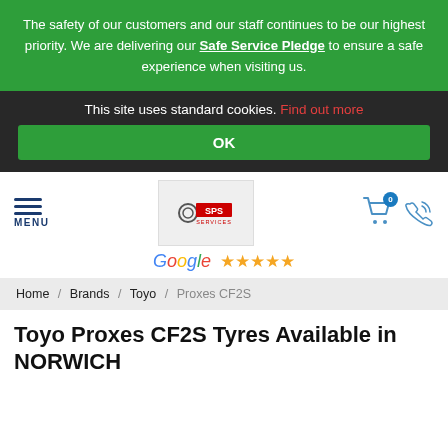The safety of our customers and our staff continues to be our highest priority. We are delivering our Safe Service Pledge to ensure a safe experience when visiting us.
This site uses standard cookies. Find out more
OK
[Figure (logo): SPS Services logo with hamburger menu and cart icon, Google 5 stars rating]
Home / Brands / Toyo / Proxes CF2S
Toyo Proxes CF2S Tyres Available in NORWICH